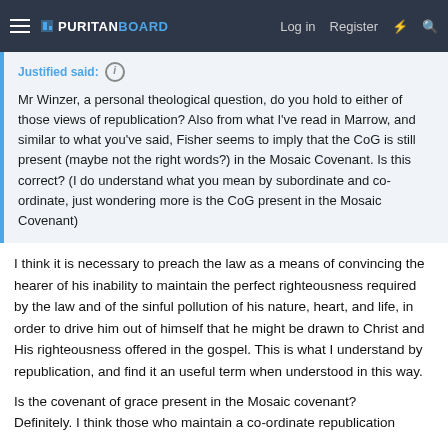PURITAN BOARD — Log in  Register
Justified said:
Mr Winzer, a personal theological question, do you hold to either of those views of republication? Also from what I've read in Marrow, and similar to what you've said, Fisher seems to imply that the CoG is still present (maybe not the right words?) in the Mosaic Covenant. Is this correct? (I do understand what you mean by subordinate and co-ordinate, just wondering more is the CoG present in the Mosaic Covenant)
I think it is necessary to preach the law as a means of convincing the hearer of his inability to maintain the perfect righteousness required by the law and of the sinful pollution of his nature, heart, and life, in order to drive him out of himself that he might be drawn to Christ and His righteousness offered in the gospel. This is what I understand by republication, and find it an useful term when understood in this way.
Is the covenant of grace present in the Mosaic covenant? Definitely. I think those who maintain a co-ordinate republication